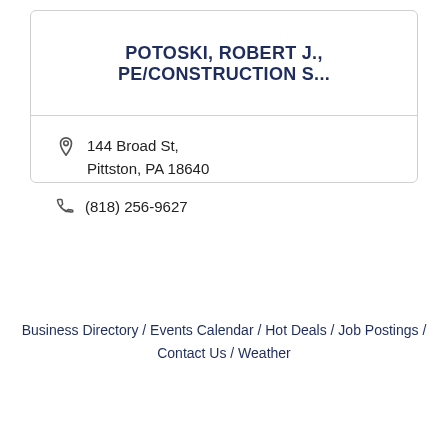POTOSKI, ROBERT J., PE/CONSTRUCTION S...
144 Broad St, Pittston, PA 18640
(818) 256-9627
Business Directory / Events Calendar / Hot Deals / Job Postings / Contact Us / Weather